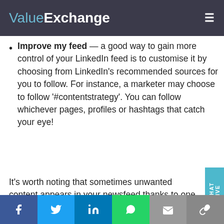ValueExchange
Improve my feed — a good way to gain more control of your LinkedIn feed is to customise it by choosing from LinkedIn's recommended sources for you to follow. For instance, a marketer may choose to follow '#contentstrategy'. You can follow whichever pages, profiles or hashtags that catch your eye!
It's worth noting that sometimes unwanted content appears in your newsfeed thanks to one of you...